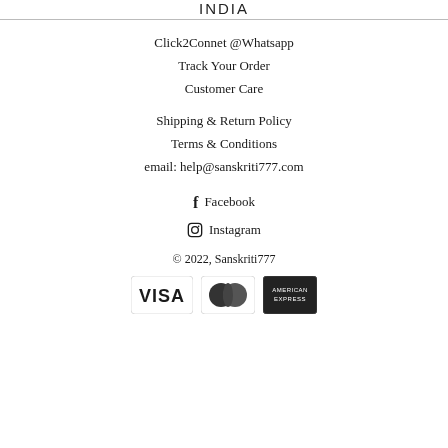INDIA
Click2Connet @Whatsapp
Track Your Order
Customer Care
Shipping & Return Policy
Terms & Conditions
email: help@sanskriti777.com
Facebook
Instagram
© 2022, Sanskriti777
[Figure (other): Payment icons: VISA, MasterCard, American Express]